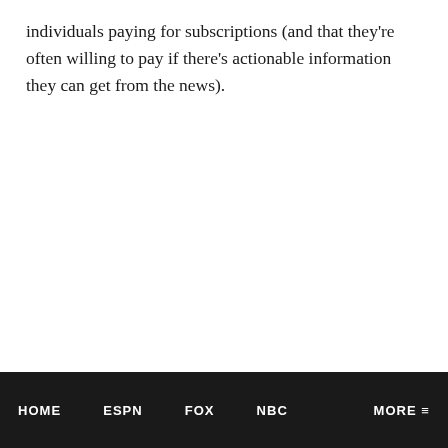individuals paying for subscriptions (and that they're often willing to pay if there's actionable information they can get from the news).
HOME   ESPN   FOX   NBC   MORE ≡